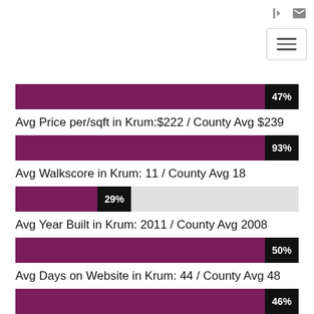[Figure (bar-chart): Avg Price per/sqft comparison]
Avg Price per/sqft in Krum:$222 / County Avg $239
[Figure (bar-chart): Avg Walkscore comparison]
Avg Walkscore in Krum: 11 / County Avg 18
[Figure (bar-chart): Avg Year Built comparison]
Avg Year Built in Krum: 2011 / County Avg 2008
[Figure (bar-chart): Avg Days on Website comparison]
Avg Days on Website in Krum: 44 / County Avg 48
[Figure (bar-chart): Avg Days on Website comparison 2]